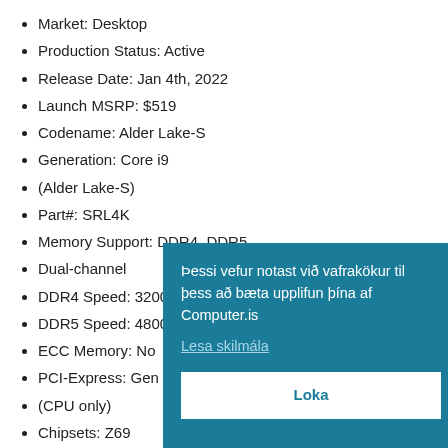Market: Desktop
Production Status: Active
Release Date: Jan 4th, 2022
Launch MSRP: $519
Codename: Alder Lake-S
Generation: Core i9
(Alder Lake-S)
Part#: SRL4K
Memory Support: DDR4, DDR5
Dual-channel
DDR4 Speed: 3200 MT/s
DDR5 Speed: 4800 MT/s
ECC Memory: No
PCI-Express: Gen 5, 20 Lanes
(CPU only)
Chipsets: Z69…
Cores
# of Cores: 16…
# of Threads:…
Hybrid Cores…
E-Cores: 8
SMP # CPUs…
Integrated Graphics: UHD Graphics 770
Þessi vefur notast við vafrakökur til þess að bæta upplifun þína af Computer.is
Lesa skilmála
Loka